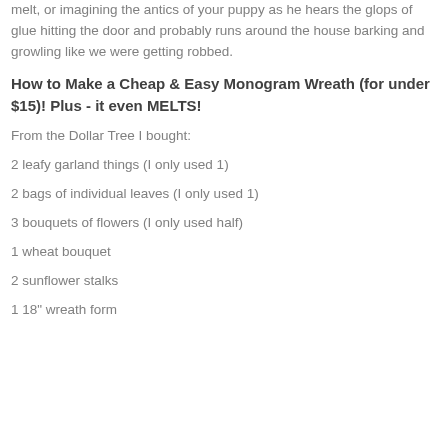melt, or imagining the antics of your puppy as he hears the glops of glue hitting the door and probably runs around the house barking and growling like we were getting robbed.
How to Make a Cheap & Easy Monogram Wreath (for under $15)! Plus - it even MELTS!
From the Dollar Tree I bought:
2 leafy garland things (I only used 1)
2 bags of individual leaves (I only used 1)
3 bouquets of flowers (I only used half)
1 wheat bouquet
2 sunflower stalks
1 18" wreath form